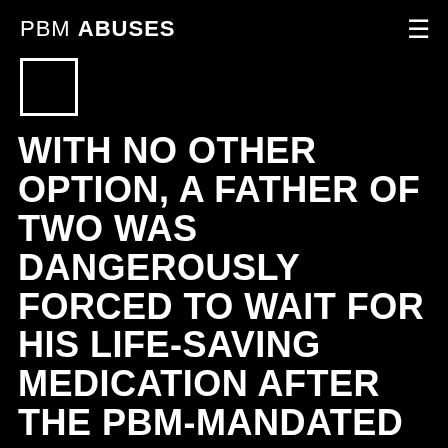PBM ABUSES
[Figure (other): White outlined empty checkbox square]
WITH NO OTHER OPTION, A FATHER OF TWO WAS DANGEROUSLY FORCED TO WAIT FOR HIS LIFE-SAVING MEDICATION AFTER THE PBM-MANDATED PHARMACY SENT THE WRONG DOSAGE DIRECTIONS.
Bill